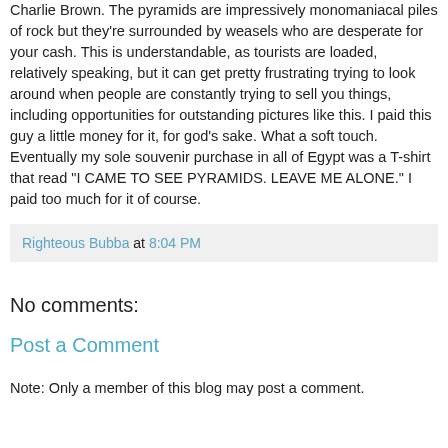Charlie Brown. The pyramids are impressively monomaniacal piles of rock but they're surrounded by weasels who are desperate for your cash. This is understandable, as tourists are loaded, relatively speaking, but it can get pretty frustrating trying to look around when people are constantly trying to sell you things, including opportunities for outstanding pictures like this. I paid this guy a little money for it, for god's sake. What a soft touch. Eventually my sole souvenir purchase in all of Egypt was a T-shirt that read "I CAME TO SEE PYRAMIDS. LEAVE ME ALONE." I paid too much for it of course.
Righteous Bubba at 8:04 PM
No comments:
Post a Comment
Note: Only a member of this blog may post a comment.